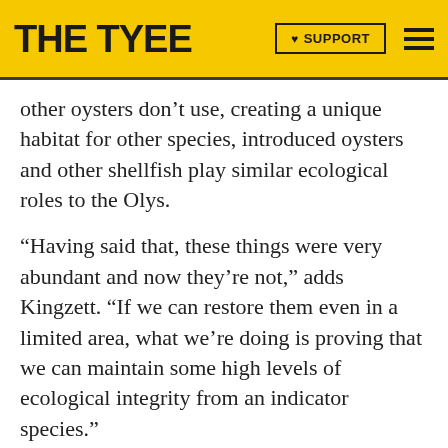THE TYEE | ♥ SUPPORT
other oysters don't use, creating a unique habitat for other species, introduced oysters and other shellfish play similar ecological roles to the Olys.
“Having said that, these things were very abundant and now they’re not,” adds Kingzett. “If we can restore them even in a limited area, what we’re doing is proving that we can maintain some high levels of ecological integrity from an indicator species.”
There is also, among fans of the Oly, a sense that the restoration of the original oyster would have symbolic weight -- an acknowledgement of past errors and of a commitment to live more wisely on